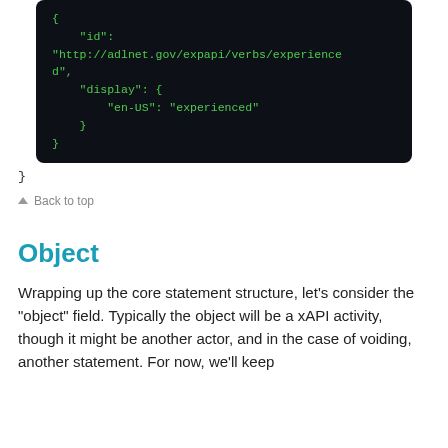[Figure (screenshot): Code block on dark background showing JSON snippet with id field set to http://adlnet.gov/expapi/verbs/experienced and display field with en-US: experienced, followed by closing braces]
}
▲ Back to top
Object
Wrapping up the core statement structure, let's consider the "object" field. Typically the object will be a xAPI activity, though it might be another actor, and in the case of voiding, another statement. For now, we'll keep